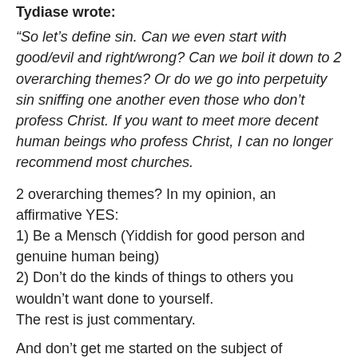Tydiase wrote:
“So let’s define sin. Can we even start with good/evil and right/wrong? Can we boil it down to 2 overarching themes? Or do we go into perpetuity sin sniffing one another even those who don’t profess Christ. If you want to meet more decent human beings who profess Christ, I can no longer recommend most churches.
2 overarching themes? In my opinion, an affirmative YES:
1) Be a Mensch (Yiddish for good person and genuine human being)
2) Don’t do the kinds of things to others you wouldn’t want done to yourself.
The rest is just commentary.
And don’t get me started on the subject of